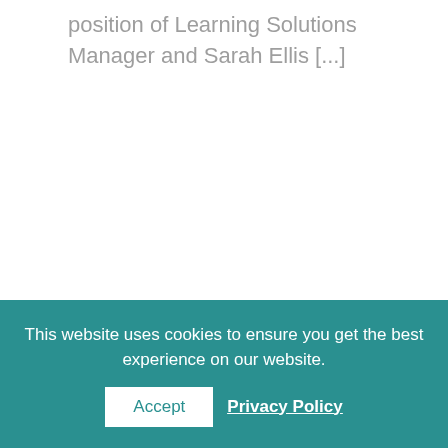position of Learning Solutions Manager and Sarah Ellis [...]
[Figure (photo): Three colleagues smiling and holding white coffee mugs, leaning on a railing in an office or cafe setting. A woman in yellow on the left, a man in a grey blazer in the center, and an older man with glasses in a tan jacket on the right.]
This website uses cookies to ensure you get the best experience on our website.
Accept
Privacy Policy